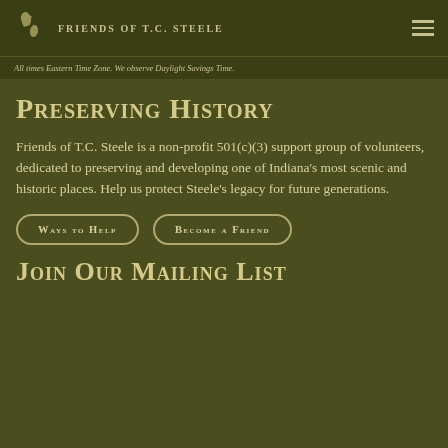FRIENDS OF T.C. STEELE
All times Eastern Time Zone. We observe Daylight Savings Time.
Preserving History
Friends of T.C. Steele is a non-profit 501(c)(3) support group of volunteers, dedicated to preserving and developing one of Indiana's most scenic and historic places. Help us protect Steele's legacy for future generations.
Ways to Help | Become a Friend
Join Our Mailing List